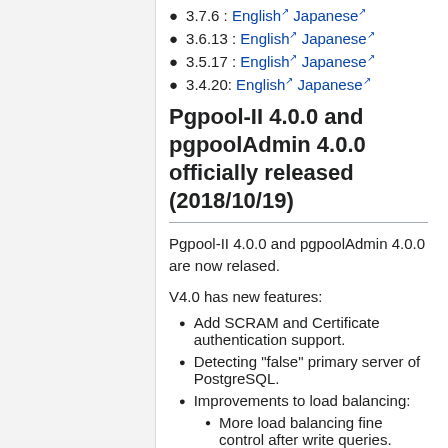3.7.6 : English Japanese
3.6.13 : English Japanese
3.5.17 : English Japanese
3.4.20: English Japanese
Pgpool-II 4.0.0 and pgpoolAdmin 4.0.0 officially released (2018/10/19)
Pgpool-II 4.0.0 and pgpoolAdmin 4.0.0 are now relased.
V4.0 has new features:
Add SCRAM and Certificate authentication support.
Detecting "false" primary server of PostgreSQL.
Improvements to load balancing:
More load balancing fine control after write queries.